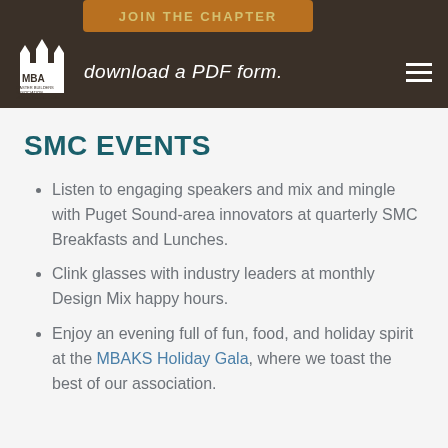Master Builders Association — download a PDF form.
SMC EVENTS
Listen to engaging speakers and mix and mingle with Puget Sound-area innovators at quarterly SMC Breakfasts and Lunches.
Clink glasses with industry leaders at monthly Design Mix happy hours.
Enjoy an evening full of fun, food, and holiday spirit at the MBAKS Holiday Gala, where we toast the best of our association.